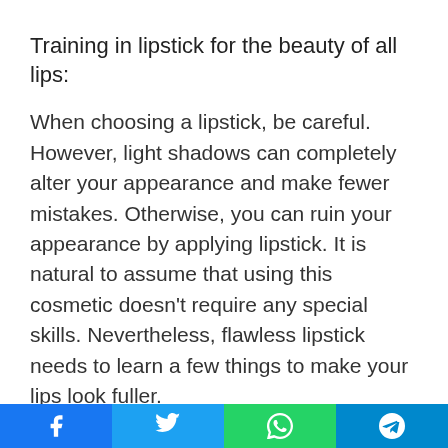Training in lipstick for the beauty of all lips:
When choosing a lipstick, be careful. However, light shadows can completely alter your appearance and make fewer mistakes. Otherwise, you can ruin your appearance by applying lipstick. It is natural to assume that using this cosmetic doesn't require any special skills. Nevertheless, flawless lipstick needs to learn a few things to make your lips look fuller.
Exfoliate the lips first:
It is important to have a smooth lip; use a lip mask
[Social share buttons: Facebook, Twitter, WhatsApp, Telegram]